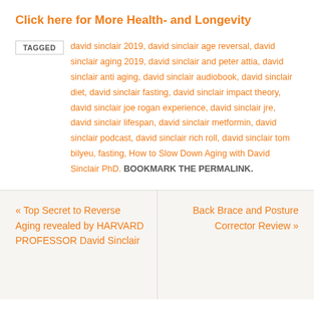Click here for More Health- and Longevity
TAGGED david sinclair 2019, david sinclair age reversal, david sinclair aging 2019, david sinclair and peter attia, david sinclair anti aging, david sinclair audiobook, david sinclair diet, david sinclair fasting, david sinclair impact theory, david sinclair joe rogan experience, david sinclair jre, david sinclair lifespan, david sinclair metformin, david sinclair podcast, david sinclair rich roll, david sinclair tom bilyeu, fasting, How to Slow Down Aging with David Sinclair PhD. BOOKMARK THE PERMALINK.
« Top Secret to Reverse Aging revealed by HARVARD PROFESSOR David Sinclair
Back Brace and Posture Corrector Review »